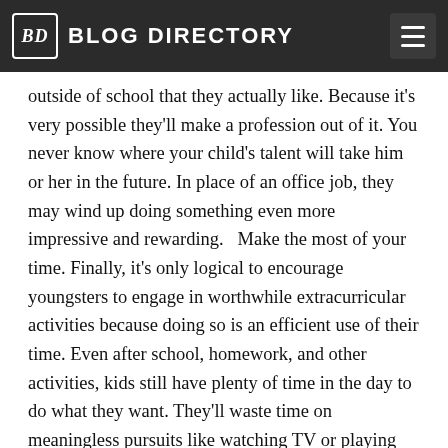BD BLOG DIRECTORY
outside of school that they actually like. Because it's very possible they'll make a profession out of it. You never know where your child's talent will take him or her in the future. In place of an office job, they may wind up doing something even more impressive and rewarding.   Make the most of your time. Finally, it's only logical to encourage youngsters to engage in worthwhile extracurricular activities because doing so is an efficient use of their time. Even after school, homework, and other activities, kids still have plenty of time in the day to do what they want. They'll waste time on meaningless pursuits like watching TV or playing video games if they don't have a passion or activity they enjoy. Being on a sports team or participating in a music class, for example, is a better use of time for both children and their parents.   It is possible for children to discover their interests and hobbies through a variety of educational apps and physical activities. It's certain that they'll have some favorites and some that they don't. The most essential thing is that kids keep themselves occupied with activities that will help shape their personality, and eventually they will discover which is their true interests. Many possibilities are available for children, from